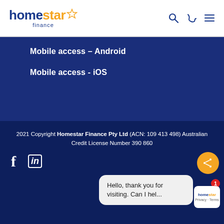[Figure (logo): Homestar Finance logo — 'homestar' in bold dark blue with an orange star, 'finance' in smaller text below, plus search, phone, and menu icons in the top right]
Mobile access – Android
Mobile access - iOS
2021 Copyright Homestar Finance Pty Ltd (ACN: 109 413 498) Australian Credit License Number 390 860
Hello, thank you for visiting. Can I hel...